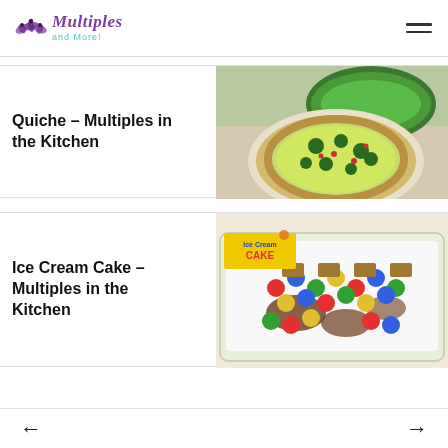Multiples and More
Quiche – Multiples in the Kitchen
[Figure (photo): Photo of a quiche with broccoli and vegetables in a pie crust, with a salad bowl in the background]
Ice Cream Cake – Multiples in the Kitchen
[Figure (photo): Photo of an ice cream cake topped with M&Ms candy and chocolate candy bars in a rectangular baking dish, with an 'Ice Cream Cake' label on the top left]
← →